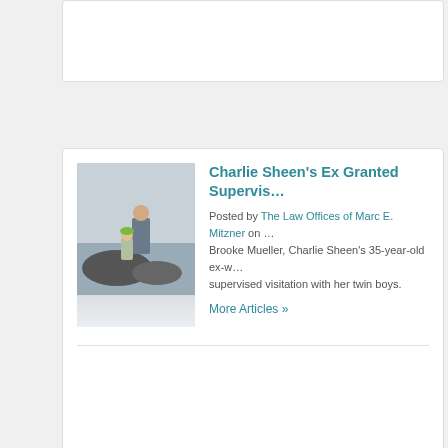[Figure (screenshot): Partially visible white card at top of page]
Charlie Sheen's Ex Granted Supervised Visitation
Posted by The Law Offices of Marc E. Mitzner on ... Brooke Mueller, Charlie Sheen's 35-year-old ex-wife, was granted supervised visitation with her twin boys.
More Articles »
[Figure (screenshot): Screenshot of Marc E. Mitzner Family Law Attorneys website showing dark blue design with 'More than 20 Years of Personal Commitment' text]
(800) 774-0483
1100 W. Town & Country Road 10th Floor, Suite 1010
Orange, CA 92868
View Website